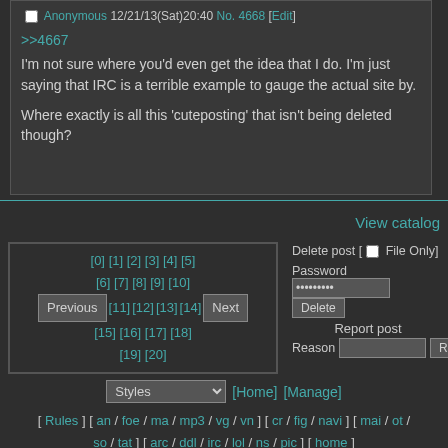Anonymous 12/21/13(Sat)20:40 No.4668 [Edit]
>>4667
I'm not sure where you'd even get the idea that I do. I'm just saying that IRC is a terrible example to gauge the actual site by.

Where exactly is all this 'cuteposting' that isn't being deleted though?
View catalog
Delete post [ File Only] Password ......... Delete
Report post
Reason  Report
[0] [1] [2] [3] [4] [5] [6] [7] [8] [9] [10] Previous [11] [12] [13] [14] Next [15] [16] [17] [18] [19] [20]
Styles [Home] [Manage]
[ Rules ] [ an / foe / ma / mp3 / vg / vn ] [ cr / fig / navi ] [ mai / ot / so / tat ] [ arc / ddl / irc / lol / ns / pic ] [ home ]